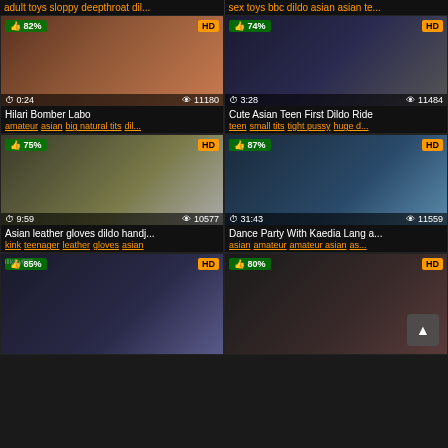adult toys  sloppy deepthroat  dil...    sex toys  bbc dildo  asian  asian te...
[Figure (photo): Video thumbnail showing adult content, 82% rating, HD badge, duration 0:24, 11180 views]
Hilari Bomber Labo
amateur  asian  big natural tits  dil...
[Figure (photo): Video thumbnail showing adult content, 74% rating, HD badge, duration 3:28, 11484 views]
Cute Asian Teen First Dildo Ride
teen  small tits  tight pussy  huge d...
[Figure (photo): Video thumbnail showing adult content, 75% rating, HD badge, duration 9:59, 10577 views]
Asian leather gloves dildo handj...
kink  teenager  leather  gloves  asian
[Figure (photo): Video thumbnail showing adult content, 87% rating, HD badge, duration 31:43, 11559 views]
Dance Party With Kaedia Lang a...
asian  amateur  amateur asian  as...
[Figure (photo): Video thumbnail showing adult content, 85% rating, HD badge, watermark illkitty631]
[Figure (photo): Video thumbnail showing adult content, 80% rating, HD badge]